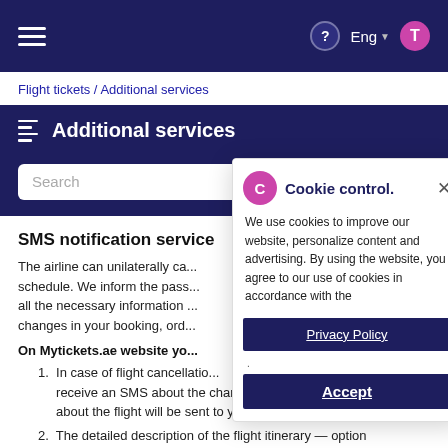Top navigation bar with hamburger menu, help, Eng language selector, and profile icon
Flight tickets / Additional services
Additional services
Search
SMS notification service
The airline can unilaterally ca... schedule. We inform the pass... all the necessary information ... changes in your booking, ord...
On Mytickets.ae website yo...
In case of flight cancellatio... receive an SMS about the change. The detailed information about the flight will be sent to your email.
The detailed description of the flight itinerary — option
[Figure (screenshot): Cookie control popup overlay with icon, title 'Cookie control.', close button, cookie usage description text, Privacy Policy button, and Accept button]